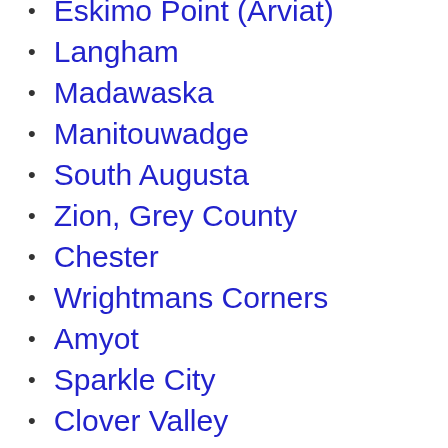Eskimo Point (Arviat)
Langham
Madawaska
Manitouwadge
South Augusta
Zion, Grey County
Chester
Wrightmans Corners
Amyot
Sparkle City
Clover Valley
Cowansville